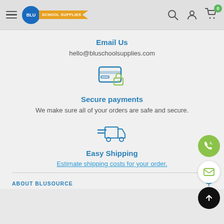BLU School Supplies – navigation header with logo, search, account, and cart icons
Email Us
hello@bluschoolsupplies.com
[Figure (illustration): Secure payments icon: credit card with a padlock]
Secure payments
We make sure all of your orders are safe and secure.
[Figure (illustration): Easy Shipping icon: delivery truck with speed lines]
Easy Shipping
Estimate shipping costs for your order.
ABOUT BLUSOURCE